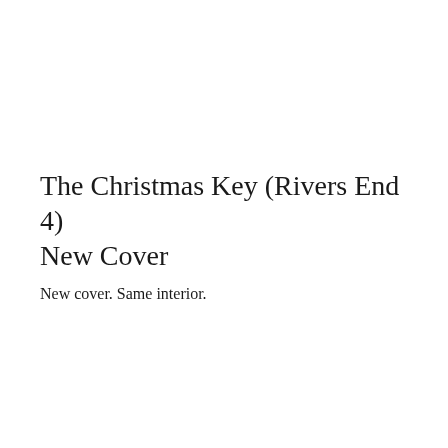The Christmas Key (Rivers End 4) New Cover
New cover. Same interior.